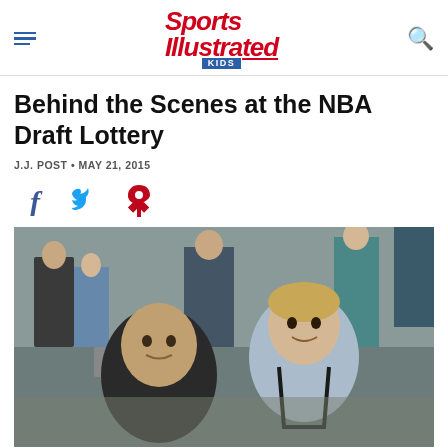Sports Illustrated KIDS
Behind the Scenes at the NBA Draft Lottery
J.J. POST · MAY 21, 2015
[Figure (other): Social sharing icons: Facebook, Twitter, Pinterest]
[Figure (photo): Two people posing for a photo at the NBA Draft Lottery event. A young man in front and a boy with a camera strap around his neck, smiling. Background shows a conference room with other attendees.]